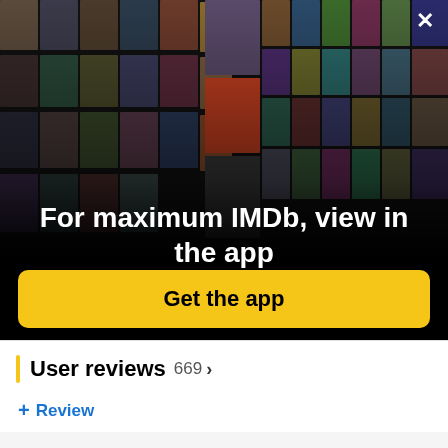[Figure (photo): IMDb promotional banner showing a collage of celebrities and movie posters arranged in a perspective/fan layout on a black background, with a close (X) button in the top right corner.]
For maximum IMDb, view in the app
Get the app
User reviews 669 >
+ Review